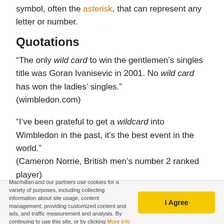symbol, often the asterisk, that can represent any letter or number.
Quotations
“The only wild card to win the gentlemen’s singles title was Goran Ivanisevic in 2001. No wild card has won the ladies’ singles.” (wimbledon.com)
“I’ve been grateful to get a wildcard into Wimbledon in the past, it’s the best event in the world.” (Cameron Norrie, British men’s number 2 ranked player)
Related words
player, qualifier, finalist, semifinalist
Macmillan and our partners use cookies for a variety of purposes, including collecting information about site usage, content management, providing customized content and ads, and traffic measurement and analysis. By continuing to use this site, or by clicking More info